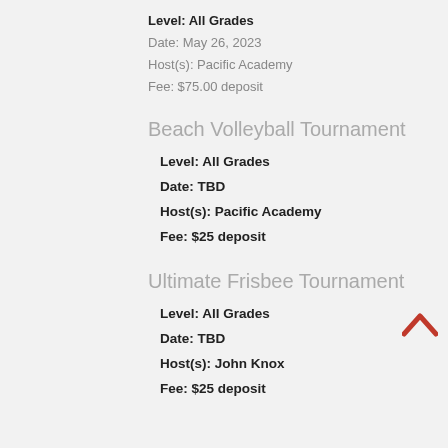Level: All Grades
Date: May 26, 2023
Host(s): Pacific Academy
Fee: $75.00 deposit
Beach Volleyball Tournament
Level: All Grades
Date: TBD
Host(s): Pacific Academy
Fee: $25 deposit
Ultimate Frisbee Tournament
Level: All Grades
Date: TBD
Host(s): John Knox
Fee: $25 deposit